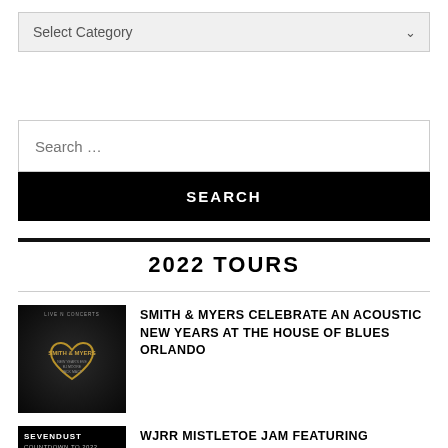Select Category
Search …
SEARCH
2022 TOURS
SMITH & MYERS CELEBRATE AN ACOUSTIC NEW YEARS AT THE HOUSE OF BLUES ORLANDO
WJRR MISTLETOE JAM FEATURING SEVENDUST COMES TO THE HARD ROCK LIVE